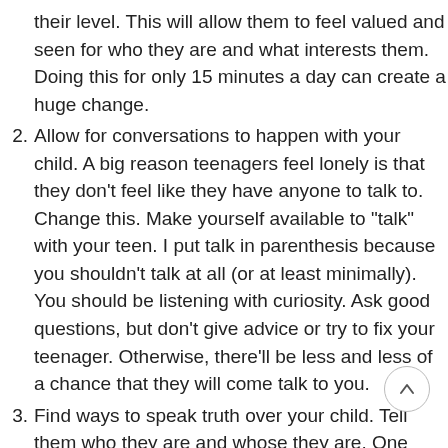(continuation) their level. This will allow them to feel valued and seen for who they are and what interests them. Doing this for only 15 minutes a day can create a huge change.
2. Allow for conversations to happen with your child. A big reason teenagers feel lonely is that they don’t feel like they have anyone to talk to. Change this. Make yourself available to “talk” with your teen. I put talk in parenthesis because you shouldn’t talk at all (or at least minimally). You should be listening with curiosity. Ask good questions, but don’t give advice or try to fix your teenager. Otherwise, there’ll be less and less of a chance that they will come talk to you.
3. Find ways to speak truth over your child. Tell them who they are and whose they are. One simple way to do this is to pray or speak scripture over them. Do this when they are awake and also when they are asleep. Words matter. What we say to our teens will deeply impact their identity.
4. Dream with your child. It can be scary to think about the future…